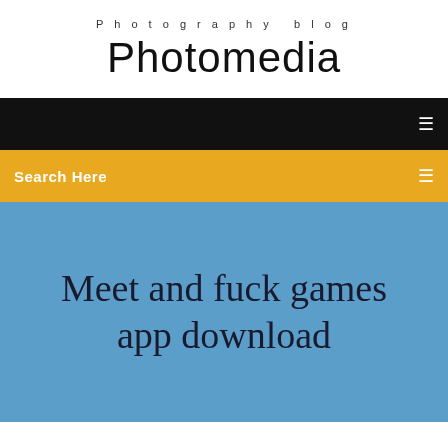Photography blog
Photomedia
Search Here
Meet and fuck games app download